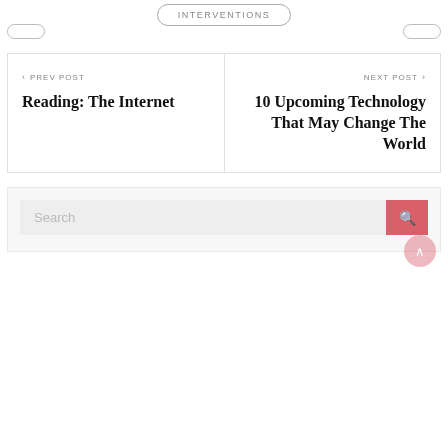[Figure (screenshot): Navigation buttons row at top, partially visible, showing pill-shaped buttons including INTERVENTIONS in the center]
< PREV POST
Reading: The Internet
NEXT POST >
10 Upcoming Technology That May Change The World
Search